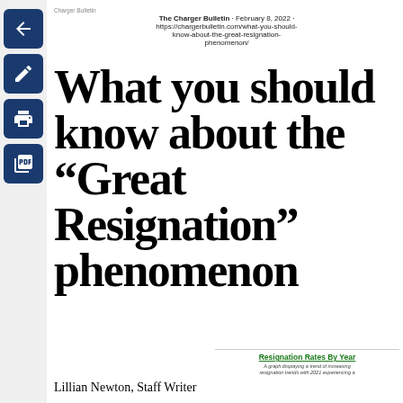Charger Bulletin · The Charger Bulletin · February 8, 2022 · https://chargerbulletin.com/what-you-should-know-about-the-great-resignation-phenomenon/
What you should know about the “Great Resignation” phenomenon
Lillian Newton, Staff Writer
[Figure (other): Resignation Rates By Year — A graph displaying a trend of increasing resignation trends with 2021 experiencing a...]